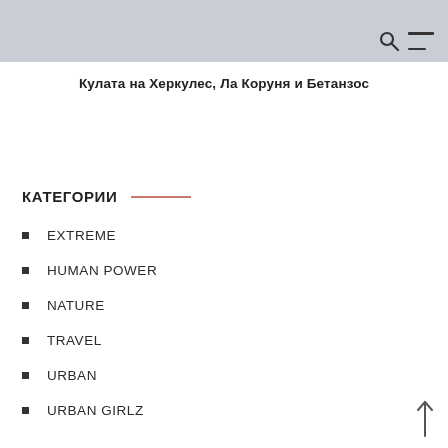Кулата на Херкулес, Ла Коруня и Бетанзос
КАТЕГОРИИ
EXTREME
HUMAN POWER
NATURE
TRAVEL
URBAN
URBAN GIRLZ